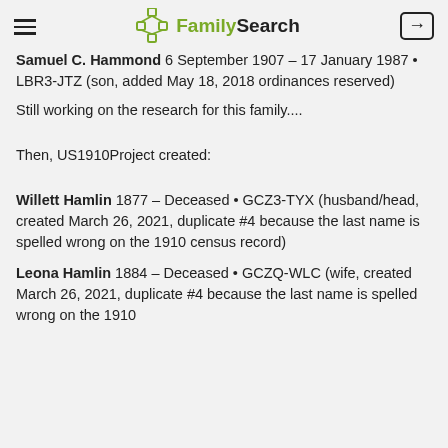FamilySearch
Samuel C. Hammond 6 September 1907 – 17 January 1987 • LBR3-JTZ (son, added May 18, 2018 ordinances reserved)
Still working on the research for this family....
Then, US1910Project created:
Willett Hamlin 1877 – Deceased • GCZ3-TYX (husband/head, created March 26, 2021, duplicate #4 because the last name is spelled wrong on the 1910 census record)
Leona Hamlin 1884 – Deceased • GCZQ-WLC (wife, created March 26, 2021, duplicate #4 because the last name is spelled wrong on the 1910